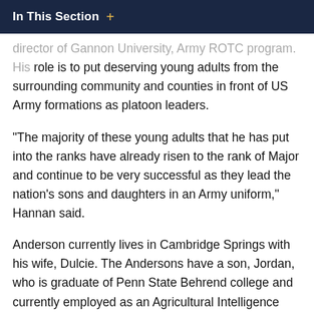In This Section  +
…director of Gannon University, Army ROTC program. His role is to put deserving young adults from the surrounding community and counties in front of US Army formations as platoon leaders.
"The majority of these young adults that he has put into the ranks have already risen to the rank of Major and continue to be very successful as they lead the nation's sons and daughters in an Army uniform," Hannan said.
Anderson currently lives in Cambridge Springs with his wife, Dulcie. The Andersons have a son, Jordan, who is graduate of Penn State Behrend college and currently employed as an Agricultural Intelligence Specialist in central New York.
Anderson is a proud cancer survivor and enjoys spending